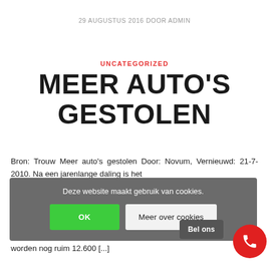29 AUGUSTUS 2016 DOOR ADMIN
UNCATEGORIZED
MEER AUTO'S GESTOLEN
Bron: Trouw Meer auto's gestolen Door: Novum, Vernieuwd: 21-7-2010. Na een jarenlange daling is het
[Figure (other): Cookie consent banner overlay with OK button and Meer over cookies button, and Bel ons floating button with red phone circle icon]
meldt de Stichting Aanpak Voertuigcriminaliteit. In
worden nog ruim 12.600 [...